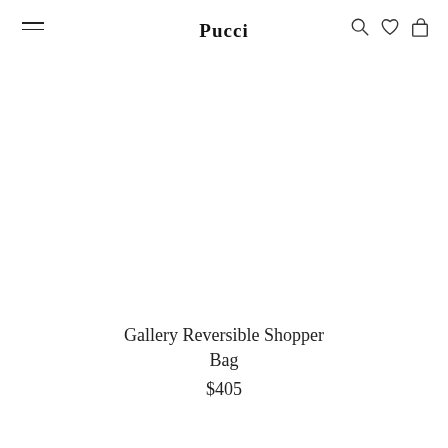Pucci
Gallery Reversible Shopper Bag
$405